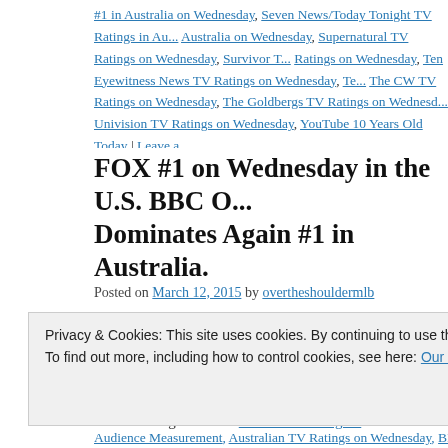#1 in Australia on Wednesday, Seven News/Today Tonight TV Ratings in Australia on Wednesday, Supernatural TV Ratings on Wednesday, Survivor T... Ratings on Wednesday, Ten Eyewitness News TV Ratings on Wednesday, Te... The CW TV Ratings on Wednesday, The Goldbergs TV Ratings on Wednesday, Univision TV Ratings on Wednesday, YouTube 10 Years Old Today | Leave a...
FOX #1 on Wednesday in the U.S. BBC O... Dominates Again #1 in Australia.
Posted on March 12, 2015 by overtheshouldermlb
On Wednesday, March 11, 2015, FOX was #1 in the U.S. as 'Em... One was #1 in the UK led by 'MasterChef UK'. Seven finished... Rules' was again the … Continue reading →
Privacy & Cookies: This site uses cookies. By continuing to use this website, you agree to their use.
To find out more, including how to control cookies, see here: Our Cookie Policy
Audience Measurement, Australian TV Ratings on Wednesday, BBC One...